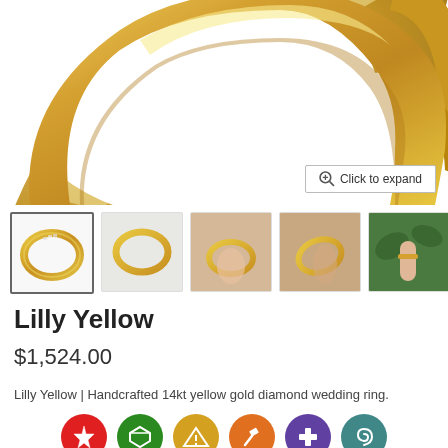[Figure (photo): Close-up photo of a yellow gold ring band curving against a white background, showing the top portion of the ring]
[Figure (photo): Row of five product thumbnail images of the Lilly Yellow ring: (1) ring on white background with diamonds, (2) ring side view on marble, (3) ring held on fingertip from above, (4) ring held on fingertip angle, (5) ring worn on hand with green leaves background]
Lilly Yellow
$1,524.00
Lilly Yellow | Handcrafted 14kt yellow gold diamond wedding ring.
[Figure (infographic): Row of six circular icons representing product attributes: red snowflake/star icon, green diamond icon, yellow/gold triangle hazard icon, orange hammer icon, purple medical cross icon, teal swirl icon]